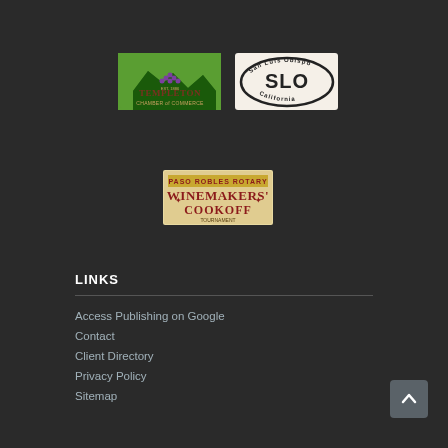[Figure (logo): Templeton Chamber of Commerce logo - green background with scenic illustration]
[Figure (logo): SLO San Luis Obispo California oval sticker logo]
[Figure (logo): Paso Robles Rotary Winemakers' Cookoff logo]
LINKS
Access Publishing on Google
Contact
Client Directory
Privacy Policy
Sitemap